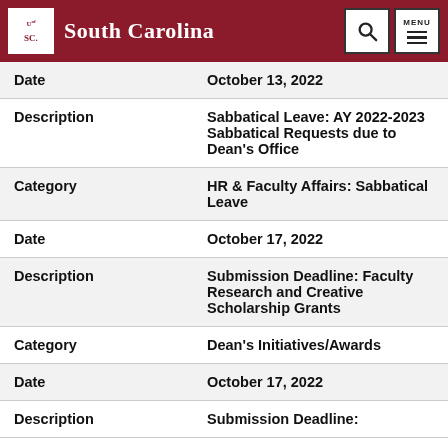University of South Carolina
| Field | Value |
| --- | --- |
| Date | October 13, 2022 |
| Description | Sabbatical Leave: AY 2022-2023 Sabbatical Requests due to Dean's Office |
| Category | HR & Faculty Affairs: Sabbatical Leave |
| Date | October 17, 2022 |
| Description | Submission Deadline: Faculty Research and Creative Scholarship Grants |
| Category | Dean's Initiatives/Awards |
| Date | October 17, 2022 |
| Description | Submission Deadline: |